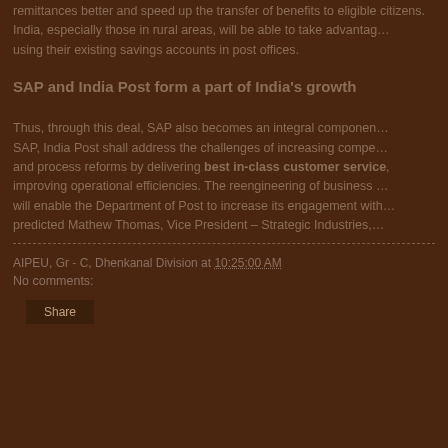remittances better and speed up the transfer of benefits to eligible citizens. India, especially those in rural areas, will be able to take advantage using their existing savings accounts in post offices.
SAP and India Post form a part of India's growth
Thus, through this deal, SAP also becomes an integral component. SAP, India Post shall address the challenges of increasing competition and process reforms by delivering best in-class customer service, improving operational efficiencies. The reengineering of business will enable the Department of Post to increase its engagement with predicted Mathew Thomas, Vice President – Strategic Industries,
AIPEU, Gr - C, Dhenkanal Division at 10:25:00 AM
No comments:
Share